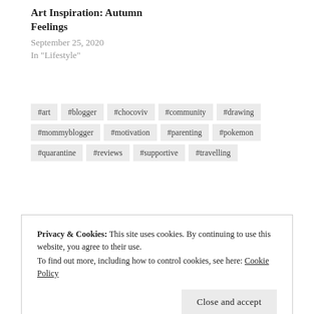Art Inspiration: Autumn Feelings
September 25, 2020
In "Lifestyle"
#art
#blogger
#chocoviv
#community
#drawing
#mommyblogger
#motivation
#parenting
#pokemon
#quarantine
#reviews
#supportive
#travelling
Privacy & Cookies: This site uses cookies. By continuing to use this website, you agree to their use.
To find out more, including how to control cookies, see here: Cookie Policy
Close and accept